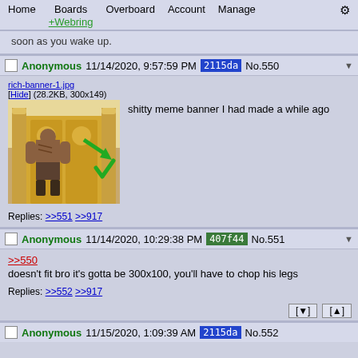Home  Boards +Webring  Overboard  Account  Manage  ⚙
soon as you wake up.
Anonymous 11/14/2020, 9:57:59 PM 2115da No.550
[Figure (photo): Muscular man standing in front of ornate gold gate with green arrow and checkmark overlaid, meme banner format. File: rich-banner-1.jpg (28.2KB, 300x149)]
shitty meme banner I had made a while ago
Replies: >>551 >>917
Anonymous 11/14/2020, 10:29:38 PM 407f44 No.551
>>550
doesn't fit bro it's gotta be 300x100, you'll have to chop his legs
Replies: >>552 >>917
Anonymous 11/15/2020, 1:09:39 AM 2115da No.552